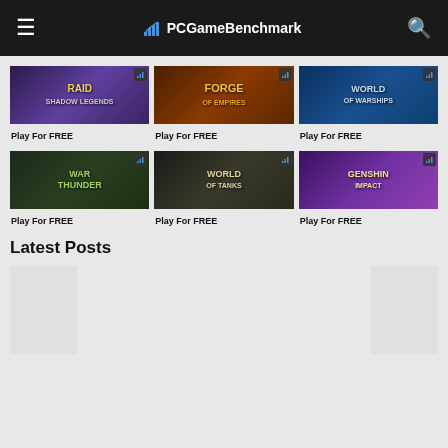PCGameBenchmark
[Figure (screenshot): RAID: Shadow Legends game thumbnail with dark purple fantasy art]
Play For FREE
[Figure (screenshot): Forge of Empires game thumbnail with red and gold logo]
Play For FREE
[Figure (screenshot): World of Warships game thumbnail with naval warship]
Play For FREE
[Figure (screenshot): War Thunder game thumbnail with tank and logo]
Play For FREE
[Figure (screenshot): World of Tanks game thumbnail with tank]
Play For FREE
[Figure (screenshot): Genshin Impact game thumbnail with anime characters]
Play For FREE
Latest Posts